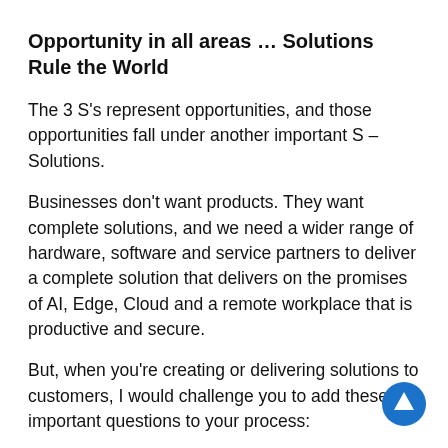Opportunity in all areas … Solutions Rule the World
The 3 S's represent opportunities, and those opportunities fall under another important S – Solutions.
Businesses don't want products. They want complete solutions, and we need a wider range of hardware, software and service partners to deliver a complete solution that delivers on the promises of AI, Edge, Cloud and a remote workplace that is productive and secure.
But, when you're creating or delivering solutions to customers, I would challenge you to add these important questions to your process:
Do you know who's making the semi-conductors powering your hardware?
Do you know the details of their supply chain? Is it reliable, diverse and regionally balanced?
And finally (and perhaps most importantly) is it a sustainable? Are you working with a company